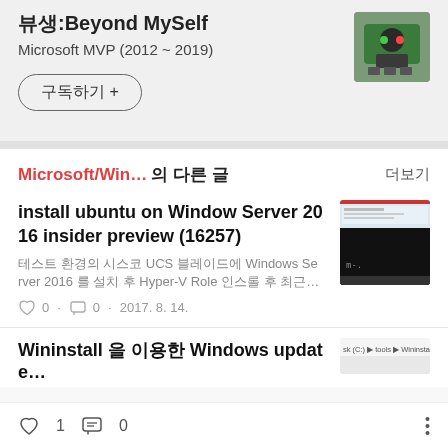뷰생:Beyond MySelf
Microsoft MVP (2012 ~ 2019)
구독하기 +
Microsoft/Win… 의 다른 글
더보기
install ubuntu on Window Server 2016 insider preview (16257)
테스트 환경의 시스코 UCS 블레이드에 Windows Server 2016 를 설치 후 Hyper-V Role 인스롤 후 최근…
♡ 0 · ⊡ 0 · 2017. 8. 14.
Wininstall 을 이용한 Windows update…
♡ 1   ⊡ 0